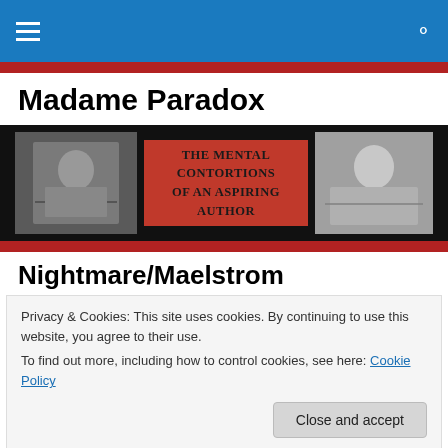Madame Paradox — site navigation header with hamburger menu and search icon
Madame Paradox
[Figure (illustration): Blog banner with black background: left photo of a woman reaching arms back (black and white), center red panel reading 'The mental contortions of an aspiring author', right black and white illustration of a reclining figure]
Nightmare/Maelstrom
Privacy & Cookies: This site uses cookies. By continuing to use this website, you agree to their use.
To find out more, including how to control cookies, see here: Cookie Policy
[Close and accept button]
an old English term used to describe a demon (incubus